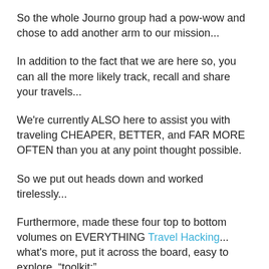So the whole Journo group had a pow-wow and chose to add another arm to our mission...
In addition to the fact that we are here so, you can all the more likely track, recall and share your travels...
We're currently ALSO here to assist you with traveling CHEAPER, BETTER, and FAR MORE OFTEN than you at any point thought possible.
So we put out heads down and worked tirelessly...
Furthermore, made these four top to bottom volumes on EVERYTHING Travel Hacking... what's more, put it across the board, easy to explore, “toolkit:”
The Travel Hacks Toolkit
Add to the truck now so you can get instant access to our...